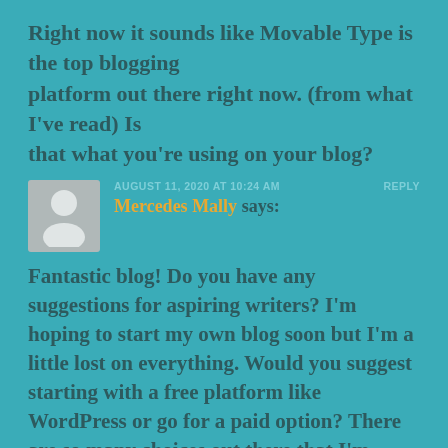Right now it sounds like Movable Type is the top blogging platform out there right now. (from what I've read) Is that what you're using on your blog?
AUGUST 11, 2020 AT 10:24 AM   REPLY
Mercedes Mally says:
Fantastic blog! Do you have any suggestions for aspiring writers? I'm hoping to start my own blog soon but I'm a little lost on everything. Would you suggest starting with a free platform like WordPress or go for a paid option? There are so many choices out there that I'm totally overwhelmed .. Any ideas? Appreciate it!